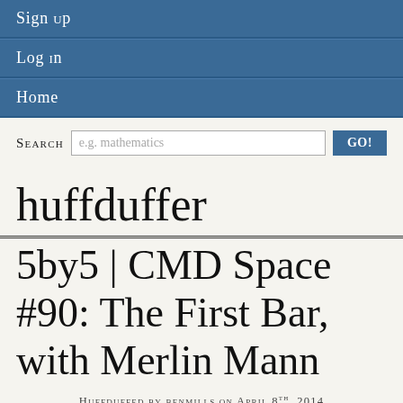Sign up
Log in
Home
Search  e.g. mathematics  GO!
huffduffer
5by5 | CMD Space #90: The First Bar, with Merlin Mann
Huffduffed by benmills on April 8th, 2014
This week Myke is joined by Merlin Mann.